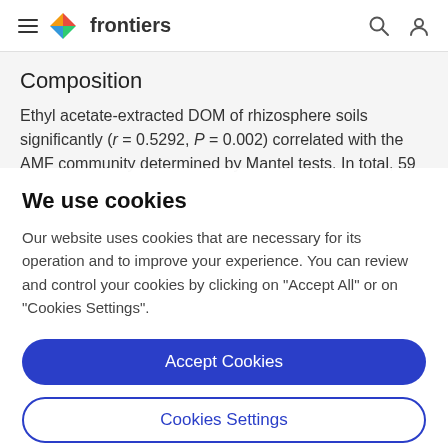frontiers
Composition
Ethyl acetate-extracted DOM of rhizosphere soils significantly (r = 0.5292, P = 0.002) correlated with the AMF community determined by Mantel tests. In total, 59
We use cookies
Our website uses cookies that are necessary for its operation and to improve your experience. You can review and control your cookies by clicking on "Accept All" or on "Cookies Settings".
Accept Cookies
Cookies Settings